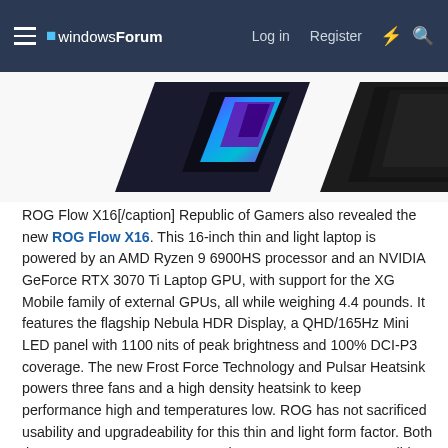windowsForum  Log in  Register
[Figure (photo): Partial image of ASUS ROG Flow X16 laptop showing the top portion with colorful RGB logo on dark background, split into two partial views]
ROG Flow X16[/caption] Republic of Gamers also revealed the new ROG Flow X16. This 16-inch thin and light laptop is powered by an AMD Ryzen 9 6900HS processor and an NVIDIA GeForce RTX 3070 Ti Laptop GPU, with support for the XG Mobile family of external GPUs, all while weighing 4.4 pounds. It features the flagship Nebula HDR Display, a QHD/165Hz Mini LED panel with 1100 nits of peak brightness and 100% DCI-P3 coverage. The new Frost Force Technology and Pulsar Heatsink powers three fans and a high density heatsink to keep performance high and temperatures low. ROG has not sacrificed usability and upgradeability for this thin and light form factor. Both the DDR5 4800MHz memory and PCIe 4.0 SSD are accessible and upgradeable. The X16 supports up the 64GB of memory and comes with up to 2 TB of SSD storage. A second open M.2 slot makes it painless to drop in more storage for a scratch disk or larger game library. As a member of the Flow